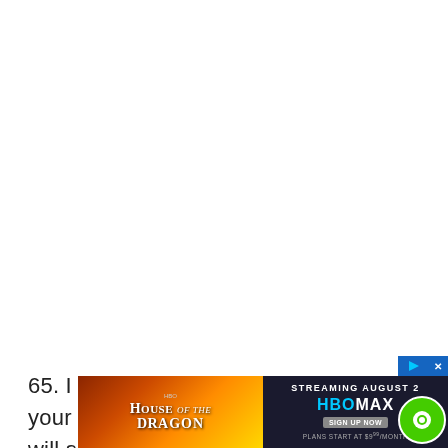65. I and your mum welcome you to your 4th year birthday, baby girl. You will see good things and experience pleasant surprises all your days.
[Figure (screenshot): Advertisement banner for HBO Max streaming service showing House of the Dragon. Left side has fiery dragon imagery with title text. Right side shows 'STREAMING AUGUST 2' with HBO Max logo, SIGN UP NOW button, and 'PLANS START AT $9/MONTH'.]